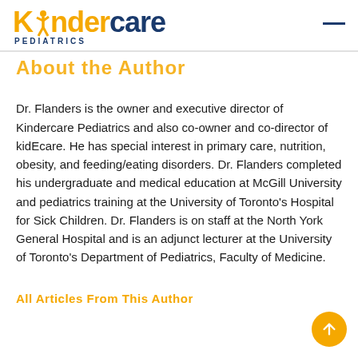Kindercare Pediatrics
About the Author
Dr. Flanders is the owner and executive director of Kindercare Pediatrics and also co-owner and co-director of kidEcare. He has special interest in primary care, nutrition, obesity, and feeding/eating disorders. Dr. Flanders completed his undergraduate and medical education at McGill University and pediatrics training at the University of Toronto’s Hospital for Sick Children. Dr. Flanders is on staff at the North York General Hospital and is an adjunct lecturer at the University of Toronto’s Department of Pediatrics, Faculty of Medicine.
All Articles From This Author